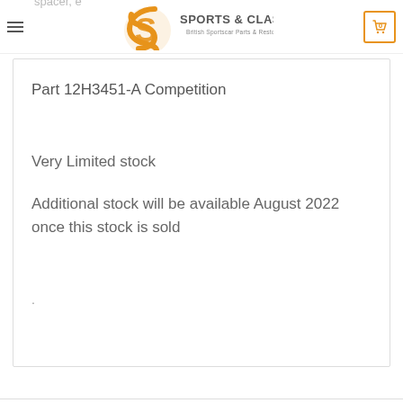Sports & Classics - British Sportscar Parts & Restoration
plate, fo
pump
spacer, e
Part 12H3451-A Competition
Very Limited stock
Additional stock will be available August 2022 once this stock is sold
.